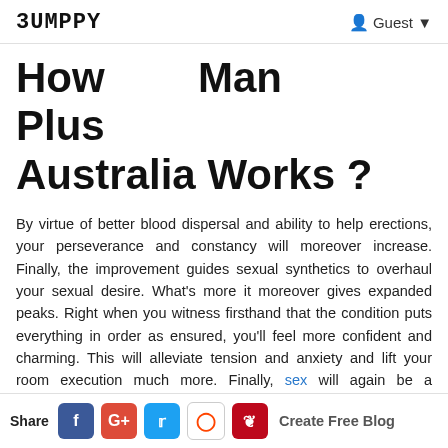BUMPPY  Guest
How Man Plus Australia Works ?
By virtue of better blood dispersal and ability to help erections, your perseverance and constancy will moreover increase. Finally, the improvement guides sexual synthetics to overhaul your sexual desire. What's more it moreover gives expanded peaks. Right when you witness firsthand that the condition puts everything in order as ensured, you'll feel more confident and charming. This will alleviate tension and anxiety and lift your room execution much more. Finally, sex will again be a wellspring of delight and not a dreary and badly designed commitment. Likewise every individual has the privilege to participate in their sexual conjunction, paying little heed to energetic or
Share  f  G+  t  [reddit]  [pinterest]  Create Free Blog